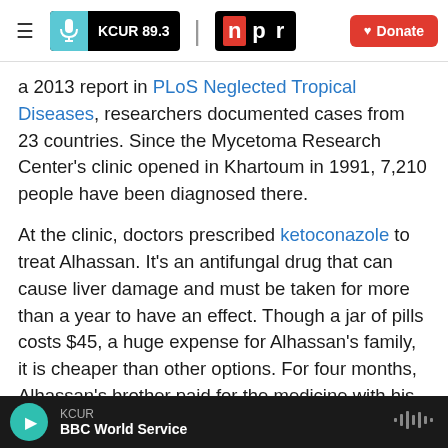KCUR 89.3 | npr | Donate
a 2013 report in PLoS Neglected Tropical Diseases, researchers documented cases from 23 countries. Since the Mycetoma Research Center's clinic opened in Khartoum in 1991, 7,210 people have been diagnosed there.
At the clinic, doctors prescribed ketoconazole to treat Alhassan. It's an antifungal drug that can cause liver damage and must be taken for more than a year to have an effect. Though a jar of pills costs $45, a huge expense for Alhassan's family, it is cheaper than other options. For four months, Alhassan's brother paid for the medicine with his
KCUR | BBC World Service